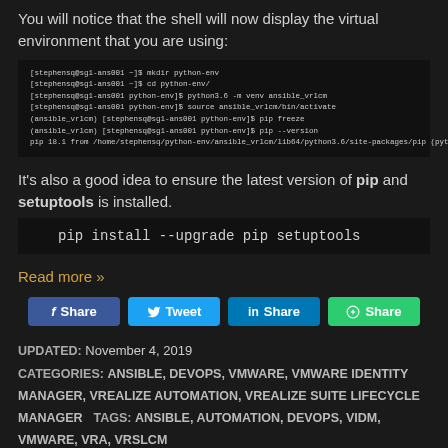You will notice that the shell will now display the virtual environment that you are using:
[Figure (screenshot): Terminal screenshot showing shell commands: mkdir python-env, cd python-env, python3.6 -m venv ansible_vrlcm, source ansible_vrlcm/bin/activate, pip freeze, pip --version, pip 18.1 from /home/stephensq/python-env/ansible_vrlcm/lib64/python3.6/site-packages/pip (python 3.6)]
It's also a good idea to ensure the latest version of pip and setuptools is installed.
Read more »
[Figure (infographic): Social share buttons: Facebook Share, Tweet, LinkedIn Share, Google Share]
UPDATED: November 4, 2019
CATEGORIES: ANSIBLE, DEVOPS, VMWARE, VMWARE IDENTITY MANAGER, VREALIZE AUTOMATION, VREALIZE SUITE LIFECYCLE MANAGER   TAGS: ANSIBLE, AUTOMATION, DEVOPS, VIDM, VMWARE, VRA, VRSLCM
IaC for vRealize: Deploying